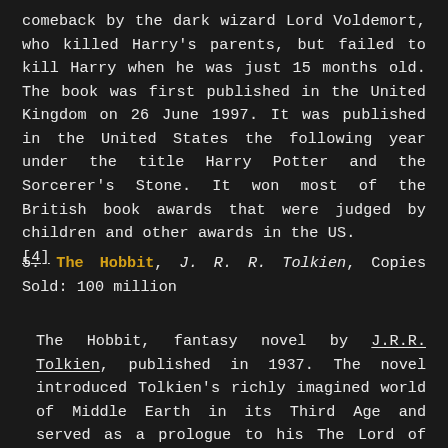comeback by the dark wizard Lord Voldemort, who killed Harry's parents, but failed to kill Harry when he was just 15 months old. The book was first published in the United Kingdom on 26 June 1997. It was published in the United States the following year under the title Harry Potter and the Sorcerer's Stone. It won most of the British book awards that were judged by children and other awards in the US. [4]
5. The Hobbit, J. R. R. Tolkien, Copies Sold: 100 million
The Hobbit, fantasy novel by J.R.R. Tolkien, published in 1937. The novel introduced Tolkien's richly imagined world of Middle Earth in its Third Age and served as a prologue to his The Lord of the Rings. Hobbits, a race of small humanlike creatures, characteristically value peace, simplicity, and cozy